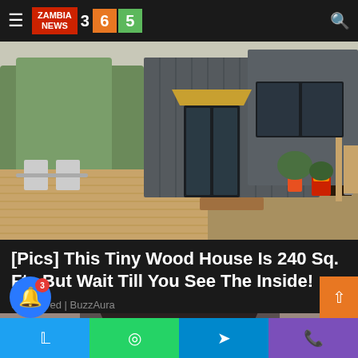ZAMBIA NEWS 365
[Figure (photo): Exterior of a small modern gray wood-panel tiny house on a wooden deck with plants and patio furniture]
[Pics] This Tiny Wood House Is 240 Sq. Ft., But Wait Till You See The Inside!
Sponsored | BuzzAura
[Figure (photo): Partial image of a person below, cropped at bottom of page]
Share buttons: Twitter, WhatsApp, Telegram, Phone